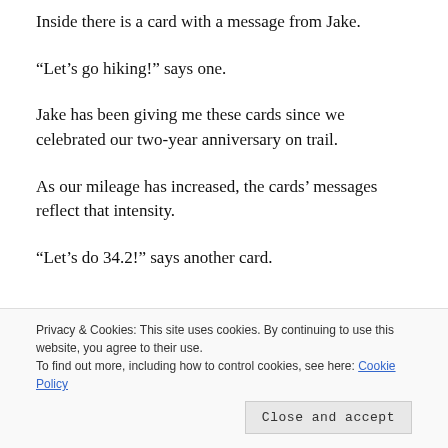Inside there is a card with a message from Jake.
“Let’s go hiking!” says one.
Jake has been giving me these cards since we celebrated our two-year anniversary on trail.
As our mileage has increased, the cards’ messages reflect that intensity.
“Let’s do 34.2!” says another card.
Privacy & Cookies: This site uses cookies. By continuing to use this website, you agree to their use.
To find out more, including how to control cookies, see here: Cookie Policy
As we hiked into Tuolumne Meadows in late